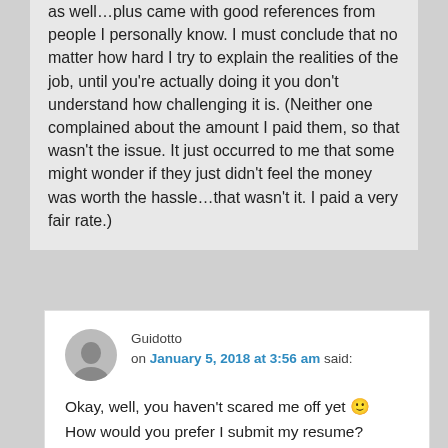as well…plus came with good references from people I personally know. I must conclude that no matter how hard I try to explain the realities of the job, until you're actually doing it you don't understand how challenging it is. (Neither one complained about the amount I paid them, so that wasn't the issue. It just occurred to me that some might wonder if they just didn't feel the money was worth the hassle…that wasn't it. I paid a very fair rate.)
Guidotto on January 5, 2018 at 3:56 am said:
Okay, well, you haven't scared me off yet 🙂
How would you prefer I submit my resume?